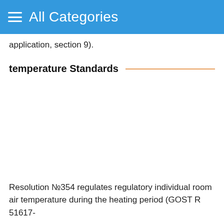All Categories
application, section 9).
temperature Standards
Resolution №354 regulates regulatory individual room air temperature during the heating period (GOST R 51617-